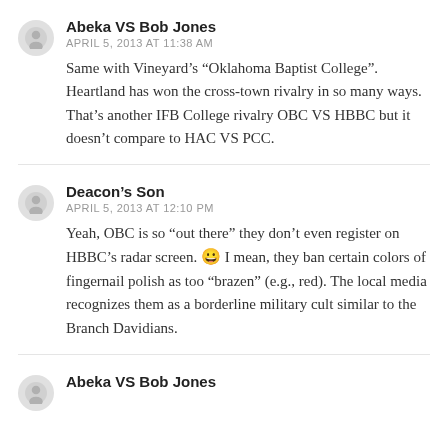Abeka VS Bob Jones
APRIL 5, 2013 AT 11:38 AM
Same with Vineyard’s “Oklahoma Baptist College”. Heartland has won the cross-town rivalry in so many ways. That’s another IFB College rivalry OBC VS HBBC but it doesn’t compare to HAC VS PCC.
Deacon’s Son
APRIL 5, 2013 AT 12:10 PM
Yeah, OBC is so “out there” they don’t even register on HBBC’s radar screen. 😃 I mean, they ban certain colors of fingernail polish as too “brazen” (e.g., red). The local media recognizes them as a borderline military cult similar to the Branch Davidians.
Abeka VS Bob Jones